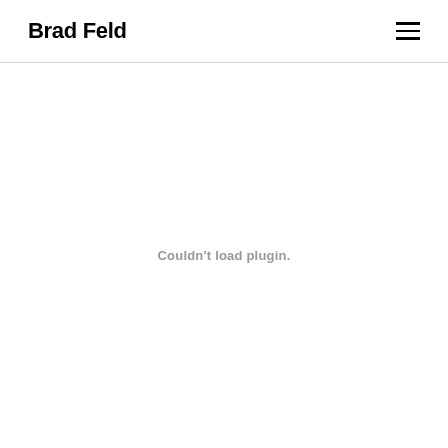Brad Feld
Couldn't load plugin.